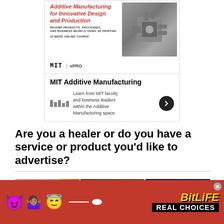[Figure (illustration): MIT xPRO advertisement banner for Additive Manufacturing for Innovative Design and Production course, showing a 3D printed mechanical part and MIT xPRO logo]
Are you a healer or do you have a service or product you'd like to advertise?
[Figure (photo): Row of thumbnail images including Starseed Therapy advertisement and other imagery]
[Figure (advertisement): BitLife - Real Choices advertisement banner with emoji characters on red background]